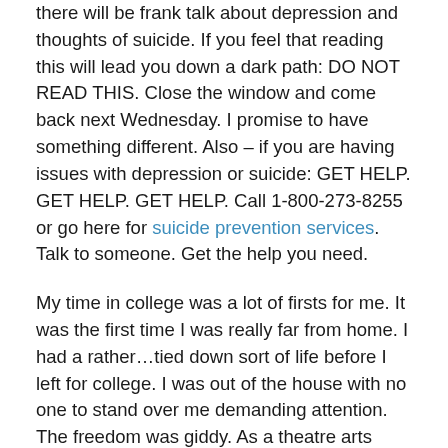there will be frank talk about depression and thoughts of suicide. If you feel that reading this will lead you down a dark path: DO NOT READ THIS. Close the window and come back next Wednesday. I promise to have something different. Also – if you are having issues with depression or suicide: GET HELP. GET HELP. GET HELP. Call 1-800-273-8255 or go here for suicide prevention services. Talk to someone. Get the help you need.
My time in college was a lot of firsts for me. It was the first time I was really far from home. I had a rather…tied down sort of life before I left for college. I was out of the house with no one to stand over me demanding attention. The freedom was giddy. As a theatre arts major, I didn't have anything too hard for my first year. If I knew then what I knew now, I would have made a lot of changes.
At this point, I was feeling like I had finally come into my